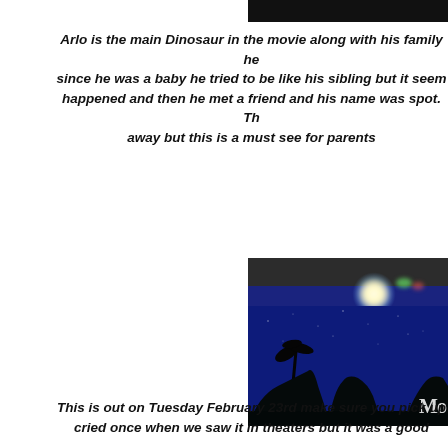[Figure (photo): Dark screenshot/image strip at the top of the page, partially cropped]
Arlo is the main Dinosaur in the movie along with his family he since he was a baby he tried to be like his sibling but it seem happened and then he met a friend and his name was spot. Th away but this is a must see for parents
[Figure (photo): Cinema audience silhouettes in dark blue light with spotlight on ceiling and 'Mo' watermark text visible at bottom right]
This is out on Tuesday February 23rd make sure you pick up cried once when we saw it in theaters but it was a good